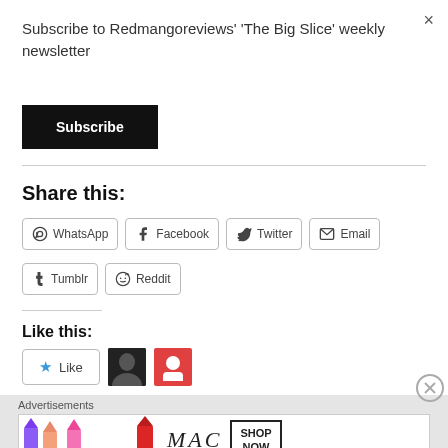Subscribe to Redmangoreviews' 'The Big Slice' weekly newsletter
Subscribe
Share this:
WhatsApp  Facebook  Twitter  Email  Tumblr  Reddit
Like this:
Like
Advertisements
[Figure (photo): MAC cosmetics advertisement banner showing lipsticks in purple, peach, pink, and red with MAC logo and SHOP NOW button]